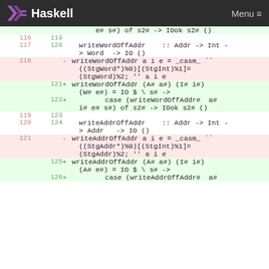Haskell Menu
| old | new | code |
| --- | --- | --- |
|  |  | e# s#) of s2# -> IOok s2# () |
| 116 | 119 |  |
| 117 | 120 | writeWordOffAddr    :: Addr -> Int -> Word  -> IO () |
| 118 |  | - writeWordOffAddr a i e = _casm_ `` ((StgWord*)%0)[(StgInt)%1]=(StgWord)%2; '' a i e |
|  | 121 | + writeWordOffAddr (A# a#) (I# i#) (W# e#) = IO $ \ s# -> |
|  | 122 | +         case (writeWordOffAddr#  a# i# e# s#) of s2# -> IOok s2# () |
| 119 | 123 |  |
| 120 | 124 | writeAddrOffAddr    :: Addr -> Int -> Addr   -> IO () |
| 121 |  | - writeAddrOffAddr a i e = _casm_ `` ((StgAddr*)%0)[(StgInt)%1]=(StgAddr)%2; '' a i e |
|  | 125 | + writeAddrOffAddr (A# a#) (I# i#) (A# e#) = IO $ \ s# -> |
|  | 126 | +         case (writeAddrOffAddr#  a# |